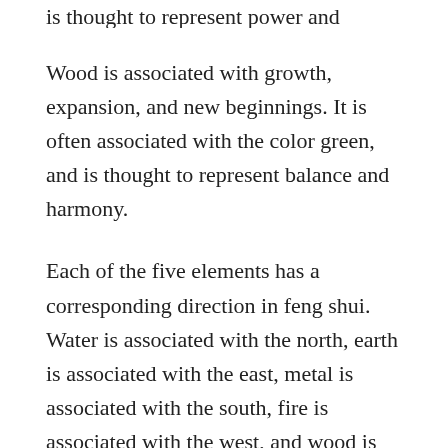is thought to represent power and determination.
Wood is associated with growth, expansion, and new beginnings. It is often associated with the color green, and is thought to represent balance and harmony.
Each of the five elements has a corresponding direction in feng shui. Water is associated with the north, earth is associated with the east, metal is associated with the south, fire is associated with the west, and wood is associated with the center.
The five elements can be used to create balance in your home or office. For example, if you feel like you need more energy, you might add a touch of